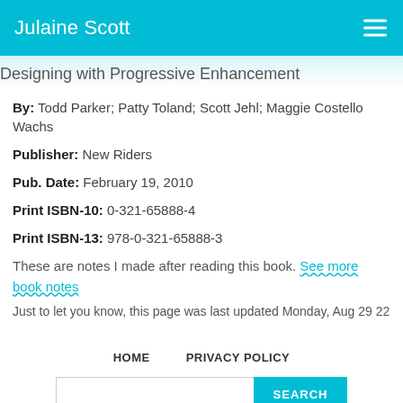Julaine Scott
Designing with Progressive Enhancement
By: Todd Parker; Patty Toland; Scott Jehl; Maggie Costello Wachs
Publisher: New Riders
Pub. Date: February 19, 2010
Print ISBN-10: 0-321-65888-4
Print ISBN-13: 978-0-321-65888-3
These are notes I made after reading this book. See more book notes
Just to let you know, this page was last updated Monday, Aug 29 22
HOME   PRIVACY POLICY
© 2022, made with ♥ by Web Designs by Julaine for a better